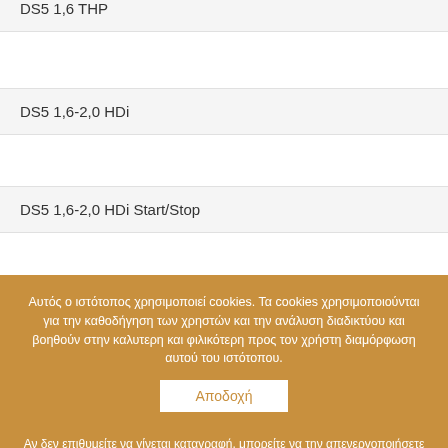DS5 1,6 THP
DS5 1,6-2,0 HDi
DS5 1,6-2,0 HDi Start/Stop
Αυτός ο ιστότοπος χρησιμοποιεί cookies. Τα cookies χρησιμοποιούνται για την καθοδήγηση των χρηστών και την ανάλυση διαδικτύου και βοηθούν στην καλυτερη και φιλικότερη προς τον χρήστη διαμόρφωση αυτού του ιστότοπου.
Αποδοχή
Αν δεν επιθυμείτε να γίνεται καταγραφή, μπορείτε να την απενεργοποιήσετε στην επιλογή Σημείωση προστασίας δεδομένων.